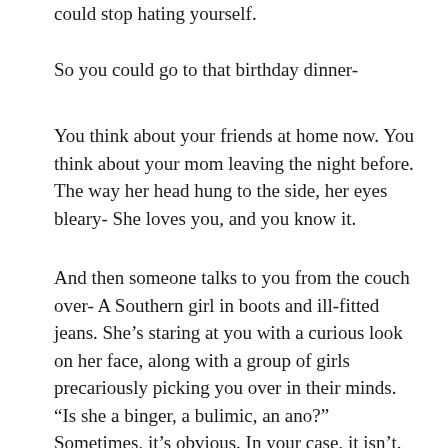could stop hating yourself.
So you could go to that birthday dinner-
You think about your friends at home now. You think about your mom leaving the night before. The way her head hung to the side, her eyes bleary- She loves you, and you know it.
And then someone talks to you from the couch over- A Southern girl in boots and ill-fitted jeans. She's staring at you with a curious look on her face, along with a group of girls precariously picking you over in their minds. “Is she a binger, a bulimic, an ano?” Sometimes, it’s obvious. In your case, it isn’t.